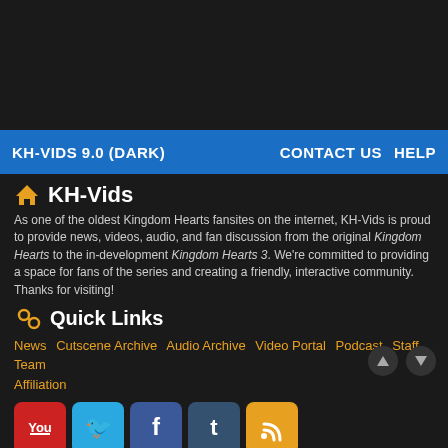KH-VIDS 9.0 (DARK)   CONTACT US   HELP
KH-Vids
As one of the oldest Kingdom Hearts fansites on the internet, KH-Vids is proud to provide news, videos, audio, and fan discussion from the original Kingdom Hearts to the in-development Kingdom Hearts 3. We're committed to providing a space for fans of the series and creating a friendly, interactive community. Thanks for visiting!
Quick Links
News | Cutscene Archive | Audio Archive | Video Portal | Podcast | Staff Team | Affiliation
[Figure (other): Social media icon buttons: YouTube (red), Twitter (blue), Facebook (dark blue), Tumblr (dark teal), RSS (orange)]
Forum software by XenForo™ | Post Macros by Liam W
KH-Vids Framework 0.1
Some XenForo functionality crafted by ThemeHouse.
XenPorta 2 PRO © Jason Axelrod from 8WAYRUN.COM
Responsive Social Sharing Buttons by CertForums.com